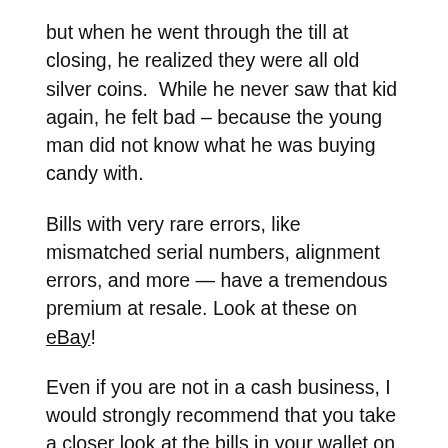but when he went through the till at closing, he realized they were all old silver coins.  While he never saw that kid again, he felt bad – because the young man did not know what he was buying candy with.
Bills with very rare errors, like mismatched serial numbers, alignment errors, and more — have a tremendous premium at resale. Look at these on eBay!
Even if you are not in a cash business, I would strongly recommend that you take a closer look at the bills in your wallet on a regular basis — because you never know what you may find!
Should you find some unusual or rare bills, put them aside, and try to find their value with a google search, etc. Sometimes a coin shop will give you a wholesale value offer on them, especially if you don't want to go through